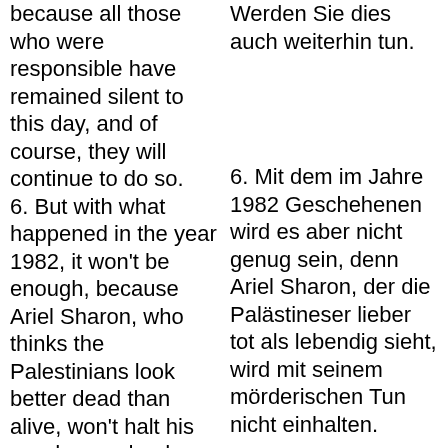because all those who were responsible have remained silent to this day, and of course, they will continue to do so.
Werden Sie dies auch weiterhin tun.
6. But with what happened in the year 1982, it won't be enough, because Ariel Sharon, who thinks the Palestinians look better dead than alive, won't halt his murderous deeds.
6. Mit dem im Jahre 1982 Geschehenen wird es aber nicht genug sein, denn Ariel Sharon, der die Palästineser lieber tot als lebendig sieht, wird mit seinem mörderischen Tun nicht einhalten.
7. This will especially be so when he arrives at the highest power in Israel, by being proclaimed the head of state in the year
7. Dies wird besonders dann so sein, wenn er in Israel zur höchsten Macht gelangt, indem er im Jahre 2001 zum Staatschef ausgerufen wird.